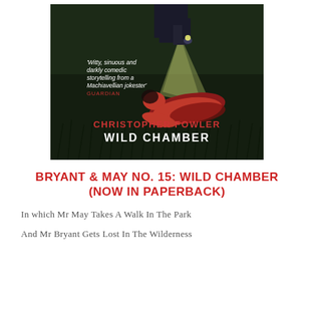[Figure (illustration): Book cover for 'Wild Chamber' by Christopher Fowler. Dark green/black background with illustrated scene of a person in dark suit with flashlight illuminating a body in red clothing on grass. Text on cover reads: 'Witty, sinuous and darkly comedic storytelling from a Machiavellian jokester' GUARDIAN. Author name: CHRISTOPHER FOWLER in red. Title: WILD CHAMBER in white.]
BRYANT & MAY NO. 15: WILD CHAMBER (NOW IN PAPERBACK)
In which Mr May Takes A Walk In The Park
And Mr Bryant Gets Lost In The Wilderness